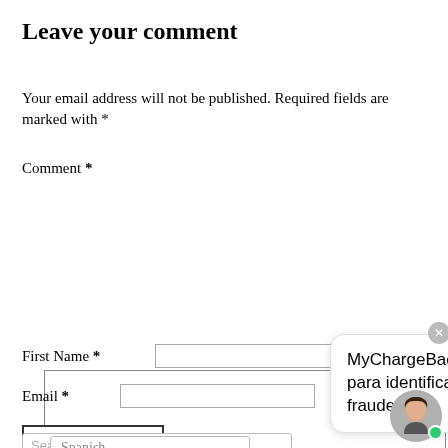Leave your comment
Your email address will not be published. Required fields are marked with *
Comment *
First Name *
Email *
POST MESSAGE
Search...
Spanish
MyChargeBack chat para identificar fraudes